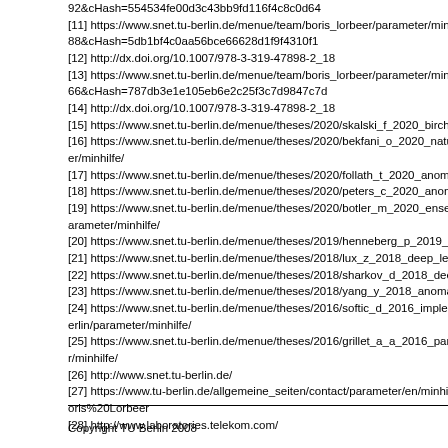92&cHash=554534fe00d3c43bb9fd116f4c8c0d64
[11] https://www.snet.tu-berlin.de/menue/team/boris_lorbeer/parameter/minhilf/88&cHash=5db1bf4c0aa56bce66628d1f9f4310f1
[12] http://dx.doi.org/10.1007/978-3-319-47898-2_18
[13] https://www.snet.tu-berlin.de/menue/team/boris_lorbeer/parameter/minhilf/66&cHash=787db3e1e105eb6e2c25f3c7d9847c7d
[14] http://dx.doi.org/10.1007/978-3-319-47898-2_18
[15] https://www.snet.tu-berlin.de/menue/theses/2020/skalski_f_2020_birch_b
[16] https://www.snet.tu-berlin.de/menue/theses/2020/bekfani_o_2020_natura/er/minhilfe/
[17] https://www.snet.tu-berlin.de/menue/theses/2020/follath_t_2020_anomaly
[18] https://www.snet.tu-berlin.de/menue/theses/2020/peters_c_2020_anomal
[19] https://www.snet.tu-berlin.de/menue/theses/2020/botler_m_2020_ensemb/arameter/minhilfe/
[20] https://www.snet.tu-berlin.de/menue/theses/2019/henneberg_p_2019_info
[21] https://www.snet.tu-berlin.de/menue/theses/2018/lux_z_2018_deep_learn
[22] https://www.snet.tu-berlin.de/menue/theses/2018/sharkov_d_2018_deep_
[23] https://www.snet.tu-berlin.de/menue/theses/2018/yang_y_2018_anomaly_
[24] https://www.snet.tu-berlin.de/menue/theses/2016/softic_d_2016_impleme/erlin/parameter/minhilfe/
[25] https://www.snet.tu-berlin.de/menue/theses/2016/grillet_a_a_2016_paralle/r/minhilfe/
[26] http://www.snet.tu-berlin.de/
[27] https://www.tu-berlin.de/allgemeine_seiten/contact/parameter/en/minhilfe/oris%20Lorbeer
[28] http://www.laboratories.telekom.com/
Copyright TU Berlin 2008